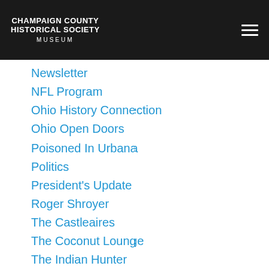CHAMPAIGN COUNTY HISTORICAL SOCIETY MUSEUM
Newsletter
NFL Program
Ohio History Connection
Ohio Open Doors
Poisoned In Urbana
Politics
President's Update
Roger Shroyer
The Castleaires
The Coconut Lounge
The Indian Hunter
Tuskegee Airmen
Upcoming Events
Urbana City Schools
Urbana University
Warren G. Grimes
Wendell Stokes